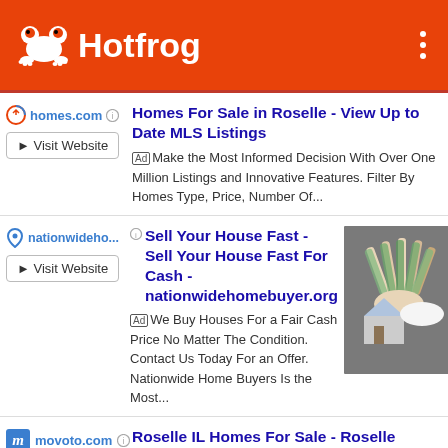Hotfrog
homes.com — Homes For Sale in Roselle - View Up to Date MLS Listings — [Ad] Make the Most Informed Decision With Over One Million Listings and Innovative Features. Filter By Homes Type, Price, Number Of...
nationwideho... — Sell Your House Fast - Sell Your House Fast For Cash - nationwidehomebuyer.org — [Ad] We Buy Houses For a Fair Cash Price No Matter The Condition. Contact Us Today For an Offer. Nationwide Home Buyers Is the Most...
movoto.com — Roselle IL Homes For Sale - Roselle Houses For Sale